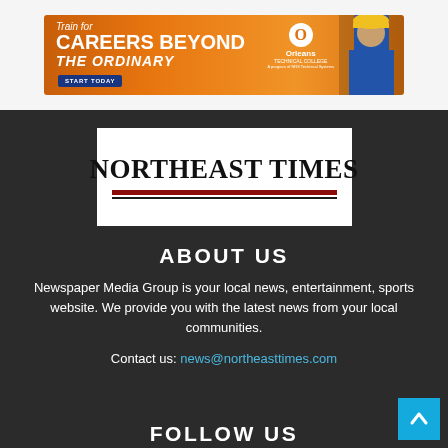[Figure (illustration): Orange advertisement banner for Orleans Technical College: 'Train for CAREERS BEYOND THE ORDINARY' with a START TODAY button and a photo of a person in a blue shirt and hard hat.]
[Figure (logo): Northeast Times newspaper logo in serif font with red and dark underlines on white background.]
ABOUT US
Newspaper Media Group is your local news, entertainment, sports website. We provide you with the latest news from your local communities.
Contact us: news@northeasttimes.com
FOLLOW US